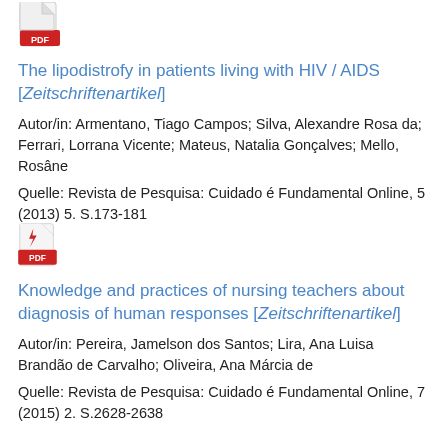[Figure (other): PDF icon (Adobe Acrobat style red and white document icon)]
The lipodistrofy in patients living with HIV / AIDS [Zeitschriftenartikel]
Autor/in: Armentano, Tiago Campos; Silva, Alexandre Rosa da; Ferrari, Lorrana Vicente; Mateus, Natalia Gonçalves; Mello, Rosâne
Quelle: Revista de Pesquisa: Cuidado é Fundamental Online, 5 (2013) 5. S.173-181
[Figure (other): PDF icon (Adobe Acrobat style red and white document icon)]
Knowledge and practices of nursing teachers about diagnosis of human responses [Zeitschriftenartikel]
Autor/in: Pereira, Jamelson dos Santos; Lira, Ana Luisa Brandão de Carvalho; Oliveira, Ana Márcia de
Quelle: Revista de Pesquisa: Cuidado é Fundamental Online, 7 (2015) 2. S.2628-2638